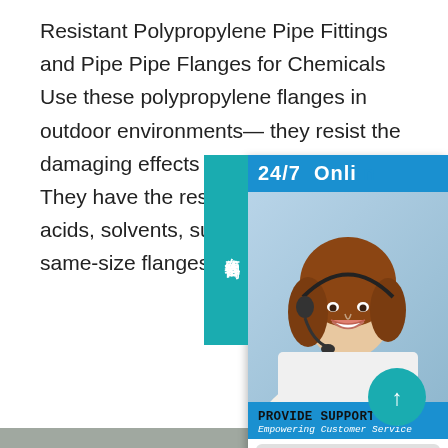Resistant Polypropylene Pipe Fittings and Pipe Pipe Flanges for Chemicals Use these polypropylene flanges in outdoor environments— they resist the damaging effects of ultraviolet light. They have the resistance to stand up to acids, solvents, substances. Bolt two same-size flanges t
[Figure (photo): Photo of metallic polypropylene pipe flanges stacked on a shelf in a warehouse or industrial setting]
[Figure (screenshot): 24/7 Online customer support widget with a woman wearing a headset, Provide Support branding, and an 'online live' button. Chinese text tab on left side reading 在线咨询 (online consultation). Teal up-arrow button at bottom right.]